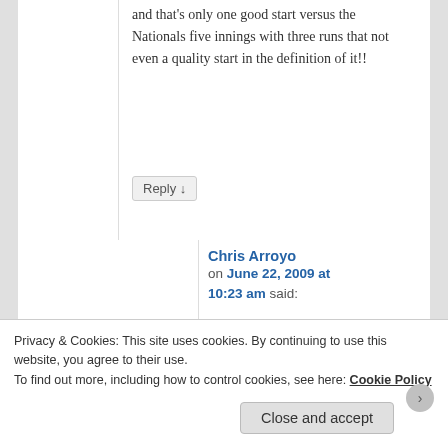and that's only one good start versus the Nationals five innings with three runs that not even a quality start in the definition of it!!
Reply ↓
Chris Arroyo on June 22, 2009 at 10:23 am said:
Joba is a starter, and while he isn't throwing 98 mph. he is throwing between 92-
Privacy & Cookies: This site uses cookies. By continuing to use this website, you agree to their use.
To find out more, including how to control cookies, see here: Cookie Policy
Close and accept